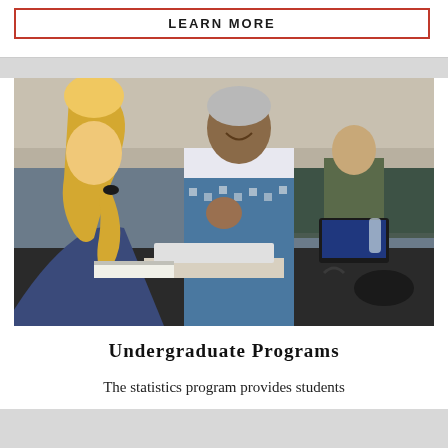LEARN MORE
[Figure (photo): Two female students sitting at a desk collaborating, one with blonde hair in a ponytail wearing a dark blue jacket, the other with short light hair wearing a white and blue patterned sweater, smiling and looking at a laptop; a man in a suit sits in the background.]
Undergraduate Programs
The statistics program provides students